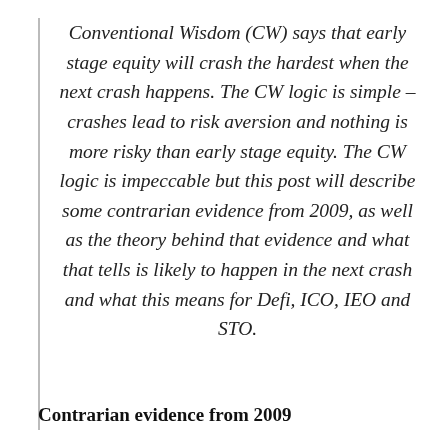Conventional Wisdom (CW) says that early stage equity will crash the hardest when the next crash happens. The CW logic is simple – crashes lead to risk aversion and nothing is more risky than early stage equity. The CW logic is impeccable but this post will describe some contrarian evidence from 2009, as well as the theory behind that evidence and what that tells is likely to happen in the next crash and what this means for Defi, ICO, IEO and STO.
Contrarian evidence from 2009